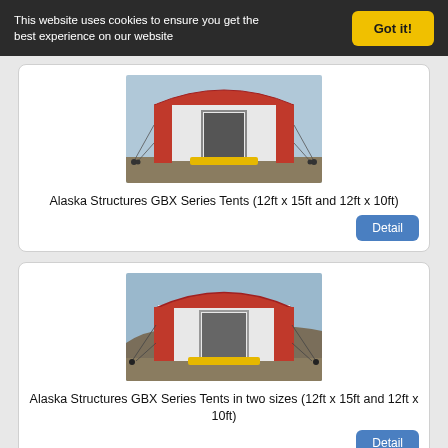This website uses cookies to ensure you get the best experience on our website
Got it!
[Figure (photo): Red and white Alaska Structures GBX Series Tent with yellow door mat, shown outdoors]
Alaska Structures GBX Series Tents (12ft x 15ft and 12ft x 10ft)
Detail
[Figure (photo): Red and white Alaska Structures GBX Series Tent with yellow door mat, shown outdoors in rocky terrain]
Alaska Structures GBX Series Tents in two sizes (12ft x 15ft and 12ft x 10ft)
Detail
[Figure (photo): Partial view of another Alaska Structures tent product]